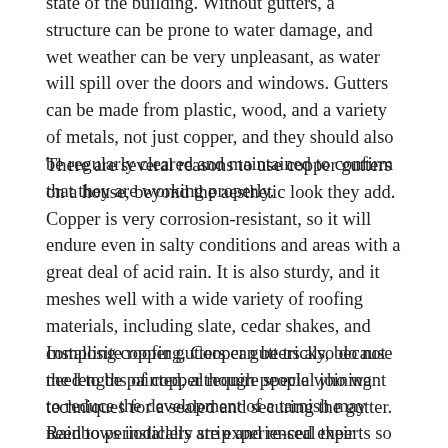state of the building. Without gutters, a structure can be prone to water damage, and wet weather can be very unpleasant, as water will spill over the doors and windows. Gutters can be made from plastic, wood, and a variety of metals, not just copper, and they should also be regularly cleared and maintained to confirm that they are working properly.
There are several reasons to use copper gutters on a house, beyond the aesthetic look they add. Copper is very corrosion-resistant, so it will endure even in salty conditions and areas with a great deal of acid rain. It is also sturdy, and it meshes well with a wide variety of roofing materials, including slate, cedar shakes, and composite roofing. Cooper gutters also do not need to be painted, although people who want to reduce the development of a tarnish may need to periodically strip and re-seal their copper with products designed for this purpose.
Installing copper gutters can be tricky, because the lengths of copper require special joining techniques for a sealed and securing the gutter. Rainbows installers are experienced experts so it's best to leave copper gutter installations to trained professionals. Mistakes with copper can be very costly for the handyman or homeowner without extensive copper experience. Copper gutters must also be paired with copper